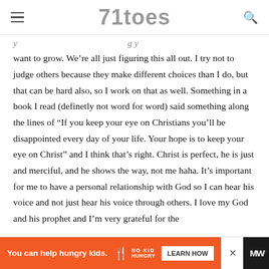71toes
[partial line — continuation from previous page]
want to grow. We’re all just figuring this all out. I try not to judge others because they make different choices than I do, but that can be hard also, so I work on that as well. Something in a book I read (definetly not word for word) said something along the lines of “If you keep your eye on Christians you’ll be disappointed every day of your life. Your hope is to keep your eye on Christ” and I think that’s right. Christ is perfect, he is just and merciful, and he shows the way, not me haha. It’s important for me to have a personal relationship with God so I can hear his voice and not just hear his voice through others. I love my God and his prophet and I’m very grateful for the… [continues]
[Figure (infographic): Orange advertisement banner: 'You can help hungry kids.' with No Kid Hungry logo and LEARN HOW button. Close X button and dark MW logo at right.]